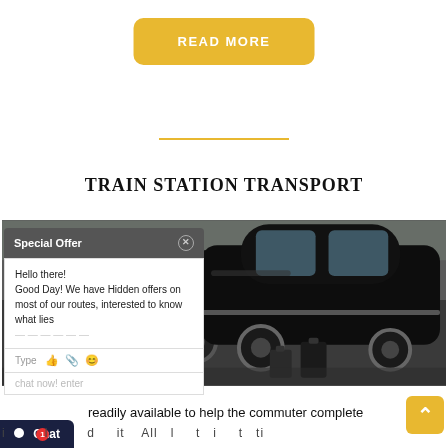[Figure (other): Yellow 'READ MORE' button with rounded corners]
[Figure (other): Gold/yellow horizontal divider line]
TRAIN STATION TRANSPORT
[Figure (photo): Photo of black luxury cars and luggage at a train station transport service]
[Figure (other): Special Offer chat popup overlay with text: Hello there! Good Day! We have Hidden offers on most of our routes, interested to know what lies... Type [icons] chat now! enter]
[Figure (other): Chat button in bottom left corner with red notification badge showing 1]
readily available to help the commuter complete
i         l        d    it   All  l    t  i    t  ti